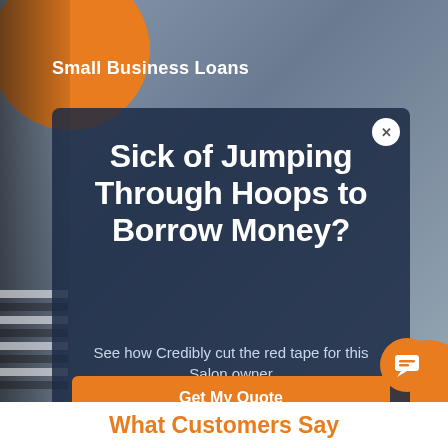Small Business Loans
Sick of Jumping Through Hoops to Borrow Money?
See how Credibly cut the red tape for this Salon owner
Get My Quote
What Customers Say